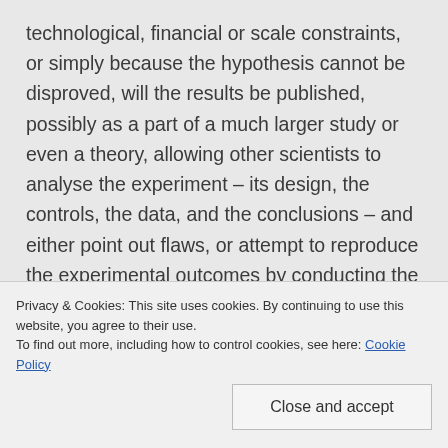technological, financial or scale constraints, or simply because the hypothesis cannot be disproved, will the results be published, possibly as a part of a much larger study or even a theory, allowing other scientists to analyse the experiment – its design, the controls, the data, and the conclusions – and either point out flaws, or attempt to reproduce the experimental outcomes by conducting the same experiment themselves to confirm results, and eliminate
Privacy & Cookies: This site uses cookies. By continuing to use this website, you agree to their use.
To find out more, including how to control cookies, see here: Cookie Policy
Close and accept